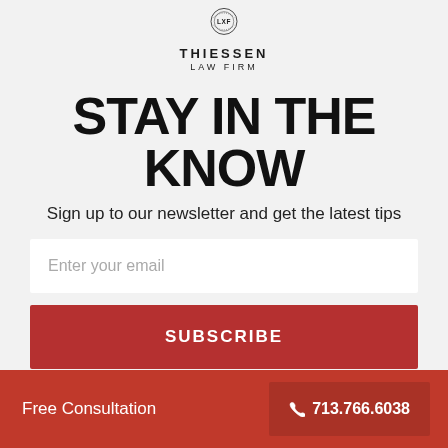[Figure (logo): Thiessen Law Firm circular badge logo with LXF initials and laurel wreath, followed by firm name THIESSEN LAW FIRM]
STAY IN THE KNOW
Sign up to our newsletter and get the latest tips
Enter your email
SUBSCRIBE
Free Consultation  📞 713.766.6038